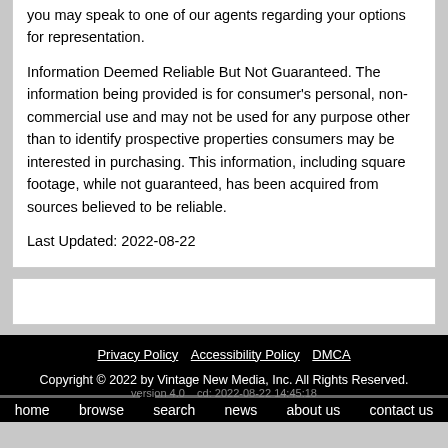you may speak to one of our agents regarding your options for representation.
Information Deemed Reliable But Not Guaranteed. The information being provided is for consumer's personal, non-commercial use and may not be used for any purpose other than to identify prospective properties consumers may be interested in purchasing. This information, including square footage, while not guaranteed, has been acquired from sources believed to be reliable.
Last Updated: 2022-08-22
Privacy Policy   Accessibility Policy   DMCA
Copyright © 2022 by Vintage New Media, Inc. All Rights Reserved.
version 4.0   cd: 2022-08-22 14:45:18
home   browse   search   news   about us   contact us